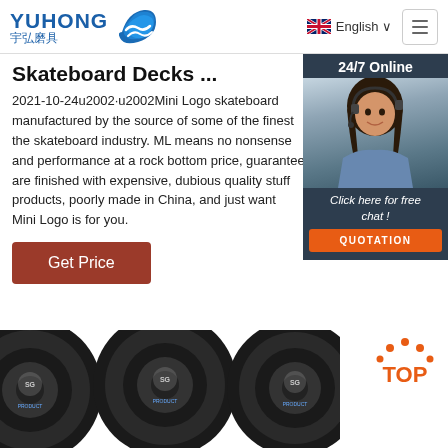[Figure (logo): Yuhong logo with Chinese characters and blue wave graphic]
English ∨
Skateboard Decks ...
2021-10-24u2002·u2002Mini Logo skateboard manufactured by the source of some of the finest the skateboard industry. ML means no nonsense and performance at a rock bottom price, guaranteed are finished with expensive, dubious quality s products, poorly made in China, and just want Mini Logo is for you.
[Figure (photo): Customer support representative with headset, 24/7 Online chat widget with QUOTATION button]
Get Price
[Figure (photo): Three PROCUT abrasive cutting discs product image at bottom of page]
[Figure (other): TOP badge with orange dots and text]